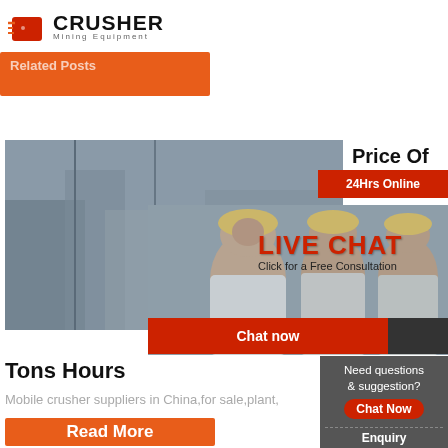[Figure (logo): Crusher Mining Equipment logo with red shopping bag icon and bold CRUSHER text]
[Figure (photo): Orange partially-visible navigation bar at top]
[Figure (photo): Mining/industrial facility background image with workers in yellow hard hats]
Price Of
[Figure (infographic): Live chat popup overlay with workers in hard hats, LIVE CHAT heading, 'Click for a Free Consultation', Chat now and Chat later buttons, and a customer service representative with headset on the right. Red 24Hrs Online badge at top right.]
Tons Hours
Mobile crusher suppliers in China,for sale,plant,
[Figure (infographic): Right sidebar with gray background: 'Need questions & suggestion?' text, red Chat Now button, dashed divider, Enquiry text, dashed divider, limingjlmofen@sina.com email]
[Figure (other): Orange Read More button at bottom left]